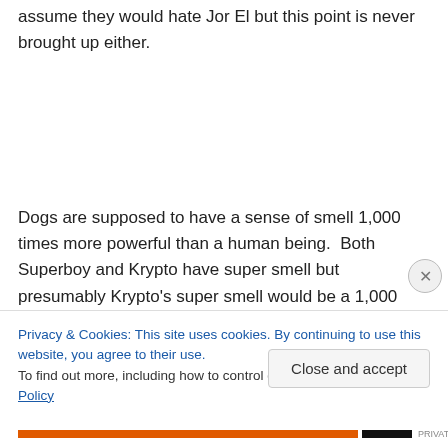assume they would hate Jor El but this point is never brought up either.
Dogs are supposed to have a sense of smell 1,000 times more powerful than a human being.  Both Superboy and Krypto have super smell but presumably Krypto's super smell would be a 1,000 times more powerful than that of Superboy.  Superboy fought some pretty sorry villains.
Privacy & Cookies: This site uses cookies. By continuing to use this website, you agree to their use.
To find out more, including how to control cookies, see here: Cookie Policy